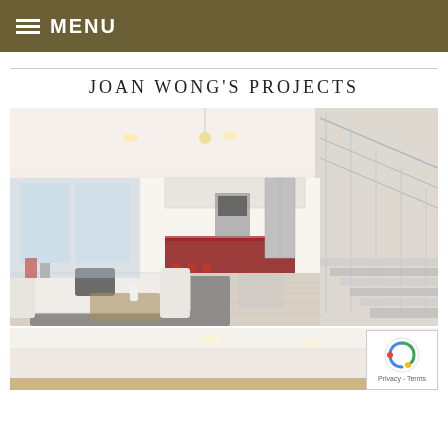≡ MENU
JOAN WONG'S PROJECTS
[Figure (photo): Modern open-plan interior with white sectional sofa, dark rug, glass staircase railing, kitchen with dark island, and double-height ceiling.]
[Figure (photo): Partial view of another modern interior room with white walls and recessed lighting.]